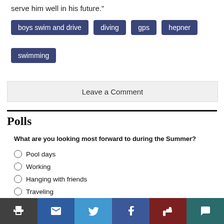serve him well in his future.”
boys swim and drive
diving
gps
hepner
swimming
Leave a Comment
Polls
What are you looking most forward to during the Summer?
Pool days
Working
Hanging with friends
Traveling